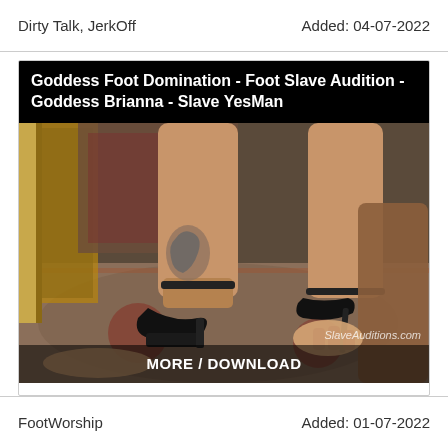Dirty Talk, JerkOff     Added: 04-07-2022
Goddess Foot Domination - Foot Slave Audition - Goddess Brianna - Slave YesMan
[Figure (photo): Close-up photo of a woman's feet in black high-heel sandals, one foot showing a scorpion tattoo on the ankle, with a person kneeling on a decorative rug. Watermark reads SlaveAuditions.com. Overlay text: MORE / DOWNLOAD]
FootWorship     Added: 01-07-2022